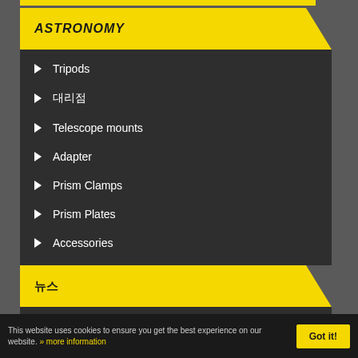ASTRONOMY
Tripods
대리점
Telescope mounts
Adapter
Prism Clamps
Prism Plates
Accessories
뉴스
REPORT 다운로드
UNI 뉴스
This website uses cookies to ensure you get the best experience on our website. » more information